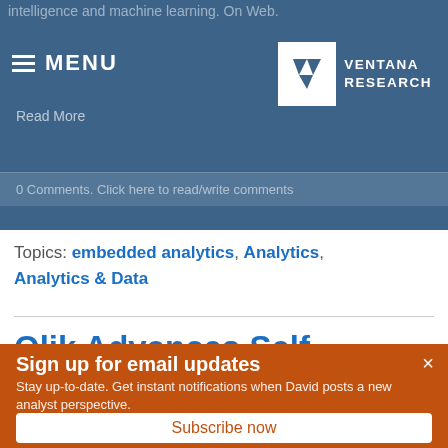intelligence and machine learning. On Web.
[Figure (logo): Ventana Research logo: white V icon in box, text VENTANA RESEARCH]
Read More
0 Comments. Click here to read/write comments
Topics: embedded analytics, Analytics, Analytics & Data
Qlik Advances Self-Service
Sign up for email updates
Stay up-to-date. Get instant notifications when David posts a new analyst perspective.
Subscribe now